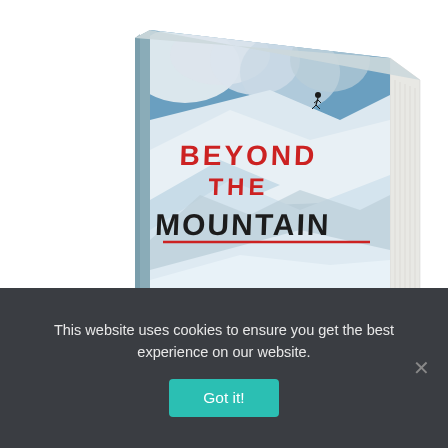[Figure (illustration): A 3D perspective photo of a book titled 'BEYOND THE MOUNTAIN'. The book cover shows a dramatic alpine skiing scene with snowy mountain slopes, blue sky with clouds, and a skier descending a steep slope. The title text 'BEYOND' and 'THE' appear in red, and 'MOUNTAIN' appears in large bold dark letters with a red underline. The book is shown at an angle revealing its spine and front cover.]
This website uses cookies to ensure you get the best experience on our website.
Got it!